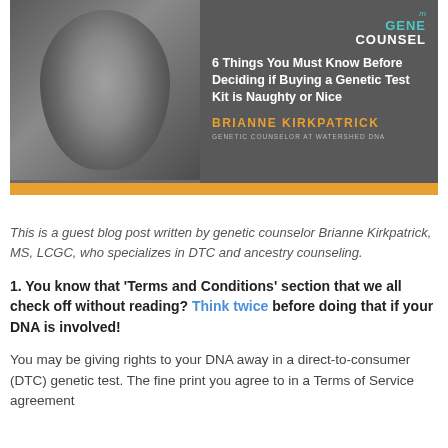[Figure (illustration): Banner image with grayscale photo of Brianne Kirkpatrick smiling on left side, dark gray background on right with myGeneCounsel logo, article title '6 Things You Must Know Before Deciding if Buying a Genetic Test Kit is Naughty or Nice', author name 'BRIANNE KIRKPATRICK', subtitle 'GENETIC COUNSELOR AT WATERSHED DNA', and orange bar at bottom.]
This is a guest blog post written by genetic counselor Brianne Kirkpatrick, MS, LCGC, who specializes in DTC and ancestry counseling.
1. You know that 'Terms and Conditions' section that we all check off without reading? Think twice before doing that if your DNA is involved!
You may be giving rights to your DNA away in a direct-to-consumer (DTC) genetic test. The fine print you agree to in a Terms of Service agreement